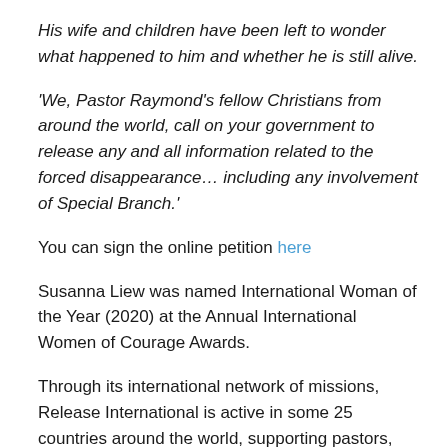His wife and children have been left to wonder what happened to him and whether he is still alive.
'We, Pastor Raymond's fellow Christians from around the world, call on your government to release any and all information related to the forced disappearance… including any involvement of Special Branch.'
You can sign the online petition here
Susanna Liew was named International Woman of the Year (2020) at the Annual International Women of Courage Awards.
Through its international network of missions, Release International is active in some 25 countries around the world, supporting pastors, Christian prisoners and their families; assisting Christians persecuted and Bibles and teaching for